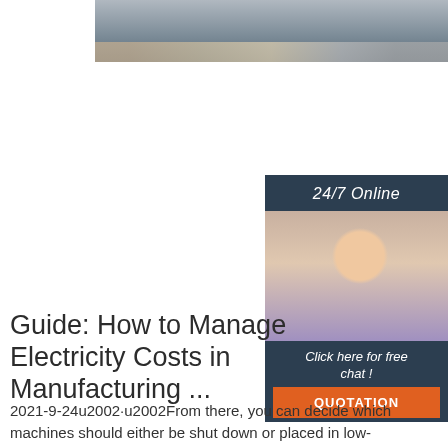[Figure (photo): Partial view of a manufacturing facility interior, grayscale/muted tones, industrial ceiling and equipment visible]
[Figure (infographic): Sidebar widget with dark navy background showing '24/7 Online' header, photo of a smiling woman with headset, text 'Click here for free chat!' and an orange 'QUOTATION' button]
Guide: How to Manage Electricity Costs in Manufacturing ...
2021-9-24u2002·u2002From there, you can decide which machines should either be shut down or placed in low-energy mode during select